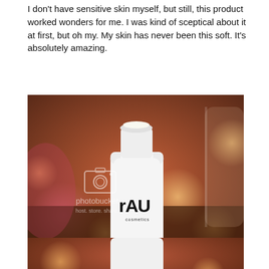I don't have sensitive skin myself, but still, this product worked wonders for me. I was kind of sceptical about it at first, but oh my. My skin has never been this soft. It's absolutely amazing.
[Figure (photo): Close-up photo of a white RAU cosmetics bottle/dispenser with cap open, set against a warm bokeh background with orange and pink lights. A Photobucket watermark (camera icon, 'host. store. share.') overlays the center of the image.]
[Figure (photo): Partial/cropped photo at bottom of page showing the base of a white RAU cosmetics product bottle on a surface with bokeh background, similar warm tones.]